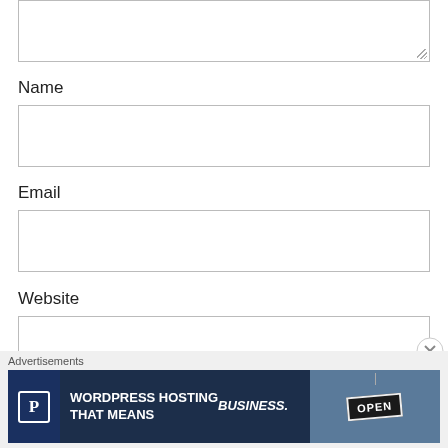[Figure (screenshot): A textarea input box (top of page, partially visible), partially cut off at top]
Name
[Figure (screenshot): Name input text field, empty, with border]
Email
[Figure (screenshot): Email input text field, empty, with border]
Website
[Figure (screenshot): Website input text field, empty, with border]
[Figure (screenshot): Blue submit button, partially visible at bottom]
Advertisements
[Figure (advertisement): WordPress Hosting advertisement banner: 'WORDPRESS HOSTING THAT MEANS BUSINESS.' with P logo and OPEN sign photo]